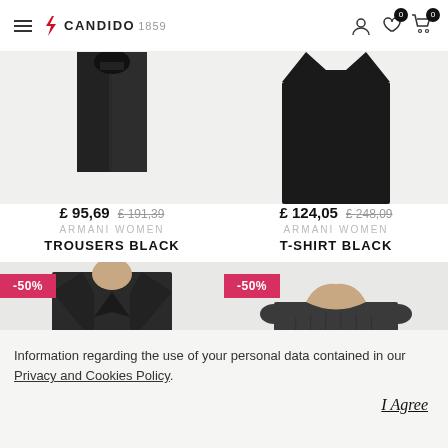CANDIDO 1859 — navigation header with hamburger menu, logo, user icon, wishlist (0), cart (0)
[Figure (photo): Product photo top portion of Armani Women Trousers Black item, partially cropped at top]
£ 95,69  £ 191,39
ARMANI WOMEN
TROUSERS BLACK
[Figure (photo): Product photo top portion of Armani Women T-Shirt Black item, partially cropped at top]
£ 124,05  £ 248,09
ARMANI WOMEN
T-SHIRT BLACK
[Figure (photo): Product photo of dark jacket/blazer with -50% discount badge, Armani Women item]
[Figure (photo): Product photo of dark top/blouse with -50% discount badge, Armani Women item]
Information regarding the use of your personal data contained in our Privacy and Cookies Policy.
I Agree